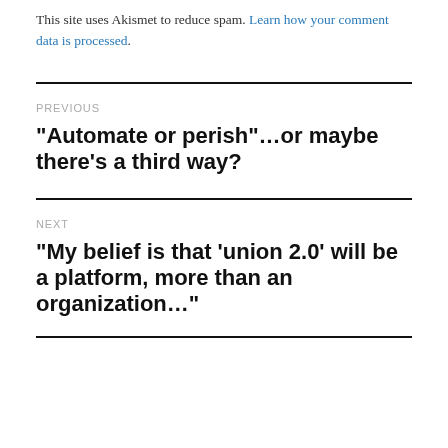This site uses Akismet to reduce spam. Learn how your comment data is processed.
PREVIOUS
“Automate or perish”…or maybe there’s a third way?
NEXT
“My belief is that ‘union 2.0’ will be a platform, more than an organization…”